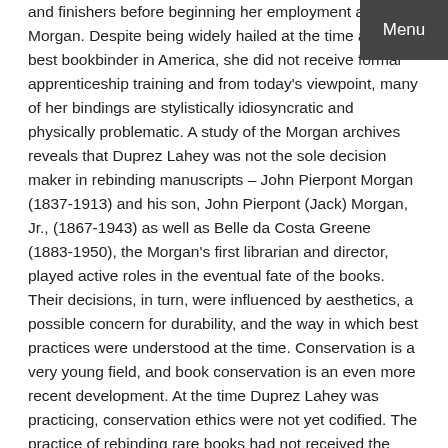Menu
and finishers before beginning her employment at the Morgan. Despite being widely hailed at the time as the best bookbinder in America, she did not receive formal apprenticeship training and from today's viewpoint, many of her bindings are stylistically idiosyncratic and physically problematic. A study of the Morgan archives reveals that Duprez Lahey was not the sole decision maker in rebinding manuscripts – John Pierpont Morgan (1837-1913) and his son, John Pierpont (Jack) Morgan, Jr., (1867-1943) as well as Belle da Costa Greene (1883-1950), the Morgan's first librarian and director, played active roles in the eventual fate of the books. Their decisions, in turn, were influenced by aesthetics, a possible concern for durability, and the way in which best practices were understood at the time. Conservation is a very young field, and book conservation is an even more recent development. At the time Duprez Lahey was practicing, conservation ethics were not yet codified. The practice of rebinding rare books had not received the depth of attention that it has today. As such, Duprez Lahey's work was necessarily limited by the knowledge available to the binder and her employers.